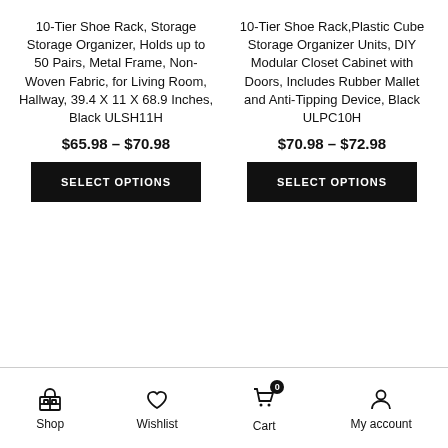10-Tier Shoe Rack, Storage Storage Organizer, Holds up to 50 Pairs, Metal Frame, Non-Woven Fabric, for Living Room, Hallway, 39.4 X 11 X 68.9 Inches, Black ULSH11H
$65.98 – $70.98
SELECT OPTIONS
10-Tier Shoe Rack,Plastic Cube Storage Organizer Units, DIY Modular Closet Cabinet with Doors, Includes Rubber Mallet and Anti-Tipping Device, Black ULPC10H
$70.98 – $72.98
SELECT OPTIONS
Shop | Wishlist | Cart 0 | My account